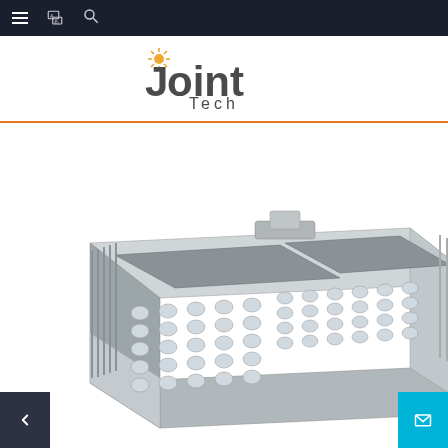Navigation bar with menu, translate, and search icons
[Figure (logo): Joint Tech company logo — stylized text reading 'Joint Tech' with a sunburst replacing the dot on the letter 'j', in dark gray with an orange/yellow sunburst accent]
[Figure (photo): LED street light fixture — a large rectangular silver/gray aluminum LED floodlight housing with two panels of circular LED lenses arranged in a grid, viewed from a slightly elevated angle. The fixture has fin-style heat sinks along the edges.]